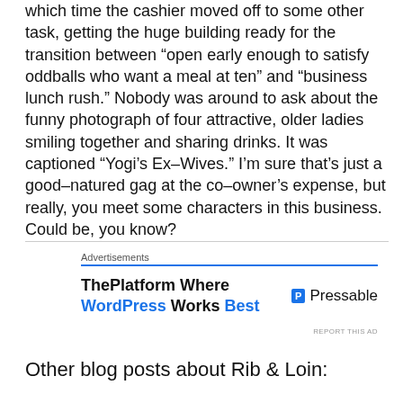which time the cashier moved off to some other task, getting the huge building ready for the transition between “open early enough to satisfy oddballs who want a meal at ten” and “business lunch rush.” Nobody was around to ask about the funny photograph of four attractive, older ladies smiling together and sharing drinks. It was captioned “Yogi’s Ex-Wives.” I’m sure that’s just a good-natured gag at the co-owner’s expense, but really, you meet some characters in this business. Could be, you know?
[Figure (other): WordPress advertisement banner: ThePlatform Where WordPress Works Best | Pressable]
Other blog posts about Rib & Loin: